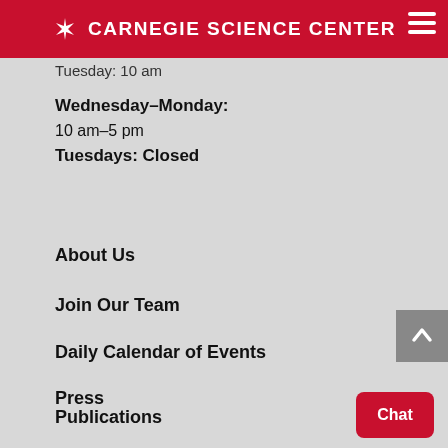CARNEGIE SCIENCE CENTER
Tuesday: 10 am (partial/cut off)
Wednesday–Monday:
10 am–5 pm
Tuesdays: Closed
About Us
Join Our Team
Daily Calendar of Events
Press
Publications
Accessibility